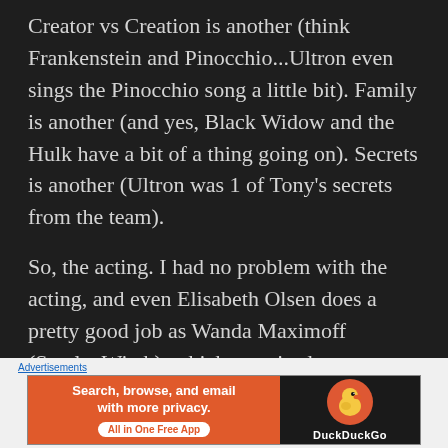Creator vs Creation is another (think Frankenstein and Pinocchio...Ultron even sings the Pinocchio song a little bit).  Family is another (and yes, Black Widow and the Hulk have a bit of a thing going on).  Secrets is another (Ultron was 1 of Tony's secrets from the team).
So, the acting.  I had no problem with the acting, and even Elisabeth Olsen does a pretty good job as Wanda Maximoff (Scarlet Witch), which surprised me, considering my
Advertisements
[Figure (other): DuckDuckGo advertisement banner. Orange left panel with text 'Search, browse, and email with more privacy. All in One Free App' and white pill button. Black right panel with DuckDuckGo duck logo and brand name.]